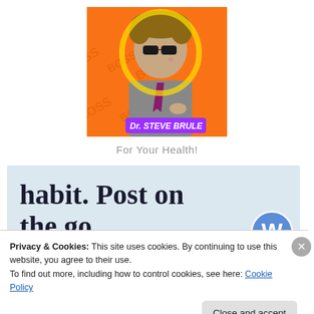[Figure (photo): Dr. Steve Brule character image — a man in grey shirt with sunglasses on orange background, with a purple text label reading 'Dr. STEVE BRULE' at the bottom]
For Your Health!
[Figure (infographic): WordPress app advertisement banner on light blue background with large text 'habit. Post on the go.' and 'GET THE APP' link with WordPress circular logo icon]
Privacy & Cookies: This site uses cookies. By continuing to use this website, you agree to their use.
To find out more, including how to control cookies, see here: Cookie Policy
Close and accept